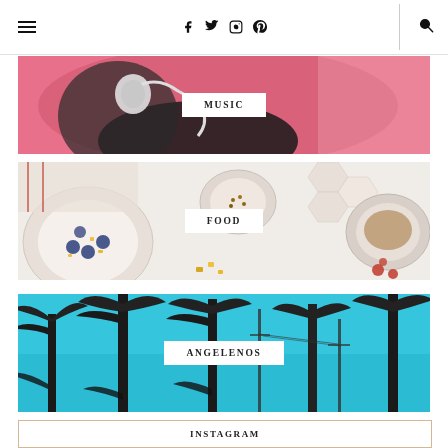Navigation header with hamburger menu, social icons (Facebook, Twitter, Instagram, Pinterest), divider, and search icon
[Figure (photo): Woman with headphones lying on pink background, partially visible, with white label overlay reading MUSIC]
[Figure (photo): Overhead flat-lay of breakfast foods including berries, plates, coffee cup, on white background, with white label overlay reading FOOD]
[Figure (photo): Looking up at palm trees against bright blue sky, with white label overlay reading ANGELENOS]
INSTAGRAM